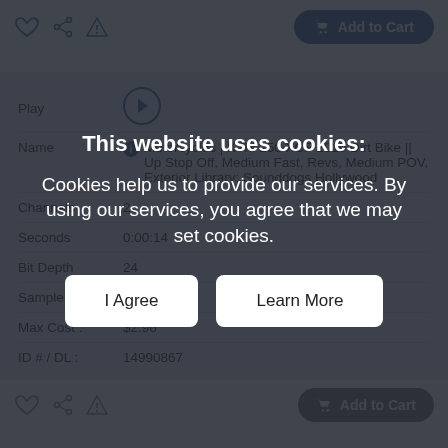[Figure (screenshot): Top action bar with heart, share, flag icons on the left and a blue 'Add to Cart' button on the right]
| Field | Value |
| --- | --- |
| Play | (play button) |
| Name | Motorcycles | KTM 250 XCF 2019 Dirt Bike || Up Stop Off, Medium Fast, Revs, Medium POV, Exterior Library: Sounddogs Hollywood |
| Channels | 2 |
| Seconds | 0:00:14 |
| Bit Depth | 24 |
| Sample Rate | 192 |
| Max Cost: | $2.96 |
| ID # / DL: | 14990867 |
This website uses cookies: Cookies help us to provide our services. By using our services, you agree that we may set cookies.
I Agree
Learn More